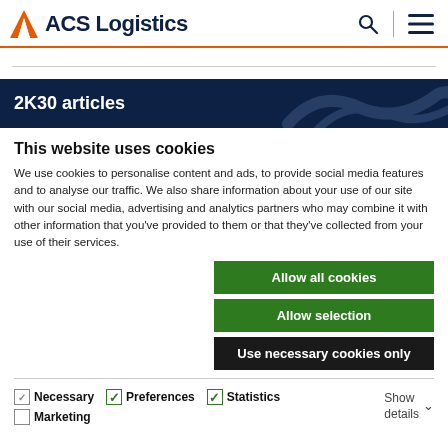ACS Logistics
2K30 articles
This website uses cookies
We use cookies to personalise content and ads, to provide social media features and to analyse our traffic. We also share information about your use of our site with our social media, advertising and analytics partners who may combine it with other information that you've provided to them or that they've collected from your use of their services.
Allow all cookies
Allow selection
Use necessary cookies only
Necessary  Preferences  Statistics  Marketing  Show details